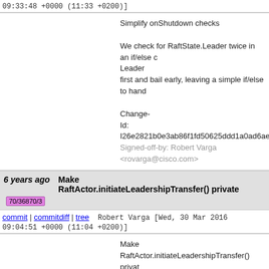09:33:48 +0000 (11:33 +0200)]
Simplify onShutdown checks

We check for RaftState.Leader twice in an if/else c Leader
first and bail early, leaving a simple if/else to hand

Change-
Id: I26e2821b0e3ab86f1fd50625ddd1a0ad6ae3b3
Signed-off-by: Robert Varga <rovarga@cisco.com>
6 years ago   Make RaftActor.initiateLeadershipTransfer() private  70/36870/3
commit | commitdiff | tree   Robert Varga [Wed, 30 Mar 2016 09:04:51 +0000 (11:04 +0200)]
Make RaftActor.initiateLeadershipTransfer() privat

the only external caller is RaftActorServerConfigur which invokes the method when the actor should b voting.

Expose an explicit method for this case and make transfer an implementation detail -
- making it easier to refactor.

Change-
Id: I06c9d1c0c07a92490ddf111d5723c8361001 4